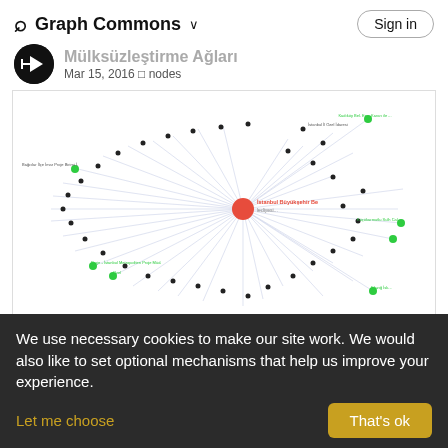Graph Commons
Mülksüzleştirme Ağları
Mar 15, 2016 □ nodes
[Figure (network-graph): Network graph showing Istanbul Büyükşehir Belediyesi as a central red node connected to many smaller black nodes representing various entities, with lines radiating outward. Several green nodes appear on the periphery.]
We use necessary cookies to make our site work. We would also like to set optional mechanisms that help us improve your experience.
Let me choose
That's ok